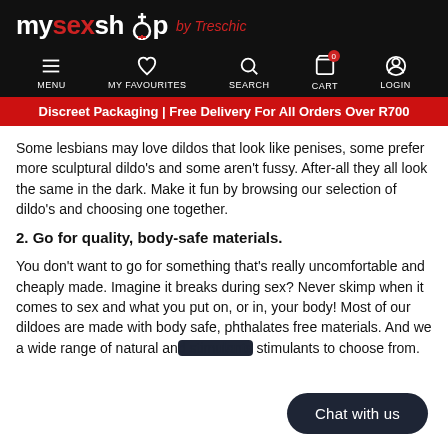mysexshop by Treschic — MENU | MY FAVOURITES | SEARCH | CART | LOGIN
Discreet Packaging | Free Delivery For All Orders Over R700
Some lesbians may love dildos that look like penises, some prefer more sculptural dildo's and some aren't fussy. After-all they all look the same in the dark. Make it fun by browsing our selection of dildo's and choosing one together.
2. Go for quality, body-safe materials.
You don't want to go for something that's really uncomfortable and cheaply made. Imagine it breaks during sex? Never skimp when it comes to sex and what you put on, or in, your body! Most of our dildoes are made with body safe, phthalates free materials. And we a wide range of natural and [covered] stimulants to choose from.